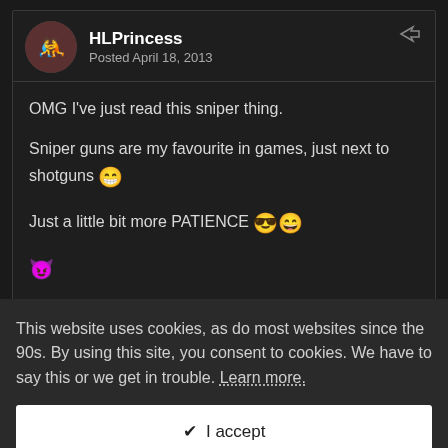HLPrincess
Posted April 18, 2013
OMG I've just read this sniper thing.

Sniper guns are my favourite in games, just next to shotguns 😁

Just a little bit more PATIENCE 😎😄

😈
kasbi15
This website uses cookies, as do most websites since the 90s. By using this site, you consent to cookies. We have to say this or we get in trouble. Learn more.
✔ I accept